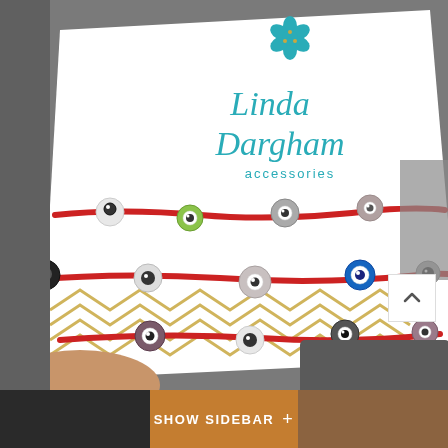[Figure (photo): Product photo showing multiple red macrame bracelets with evil eye beads displayed on a white Linda Dargham Accessories branded card. The card features a teal flower logo at the top and gold chevron pattern at the bottom. The bracelets have various colored evil eye beads including white, green, grey, blue, black and mauve. The card is held by a hand against a grey background.]
SHOW SIDEBAR +